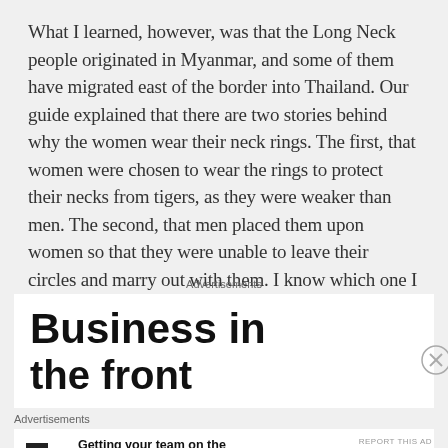What I learned, however, was that the Long Neck people originated in Myanmar, and some of them have migrated east of the border into Thailand. Our guide explained that there are two stories behind why the women wear their neck rings. The first, that women were chosen to wear the rings to protect their necks from tigers, as they were weaker than men. The second, that men placed them upon women so that they were unable to leave their circles and marry out with them. I know which one I believe.
Advertisements
[Figure (screenshot): Advertisement banner showing large bold text 'Business in the front' partially visible, with a close button (X in circle) on the right side.]
Advertisements
Getting your team on the same page is easy. And free.